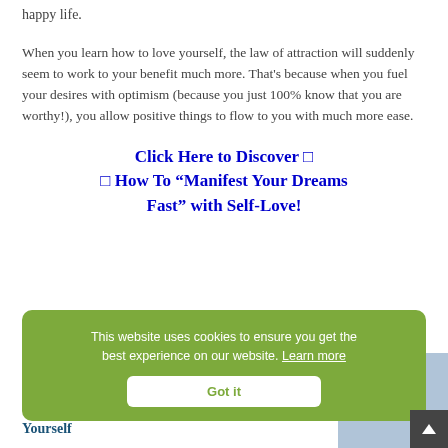happy life.
When you learn how to love yourself, the law of attraction will suddenly seem to work to your benefit much more. That’s because when you fuel your desires with optimism (because you just 100% know that you are worthy!), you allow positive things to flow to you with much more ease.
Click Here to Discover □ □ How To “Manifest Your Dreams Fast” with Self-Love!
How to Love Yourself: 15 Tips for Developing Self-Love
1. Train
Yourself
This website uses cookies to ensure you get the best experience on our website. Learn more
Got it